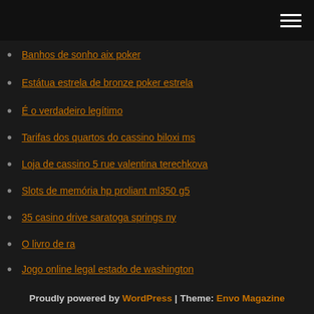[navigation bar with hamburger menu]
Banhos de sonho aix poker
Estátua estrela de bronze poker estrela
É o verdadeiro legítimo
Tarifas dos quartos do cassino biloxi ms
Loja de cassino 5 rue valentina terechkova
Slots de memória hp proliant ml350 g5
35 casino drive saratoga springs ny
O livro de ra
Jogo online legal estado de washington
Download de software de cassino online
Torradeira de ranhura longa de pneu canadense
Proudly powered by WordPress | Theme: Envo Magazine